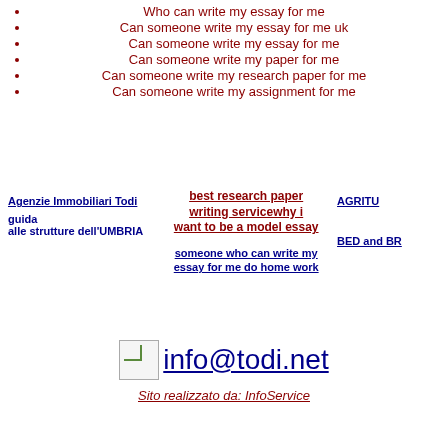Who can write my essay for me
Can someone write my essay for me uk
Can someone write my essay for me
Can someone write my paper for me
Can someone write my research paper for me
Can someone write my assignment for me
Agenzie Immobiliari Todi
guida alle strutture dell'UMBRIA
best research paper writing servicewhy i want to be a model essay
someone who can write my essay for me do home work
AGRITU...
BED and BR...
info@todi.net
Sito realizzato da: InfoService